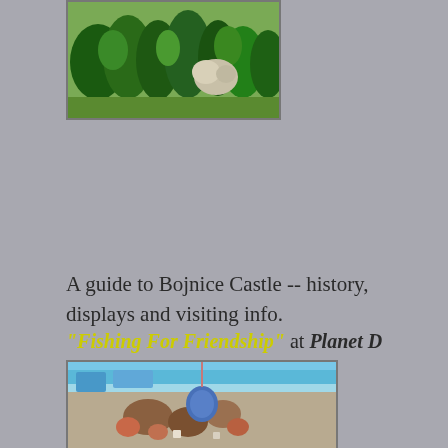[Figure (photo): Photo of Bojnice Castle area with green trees and a rock formation in the background]
A guide to Bojnice Castle -- history, displays and visiting info.
"Fishing For Friendship" at Planet D
[Figure (photo): Photo showing a boat deck with fishing-related items, nets, and decorative blue-painted elements]